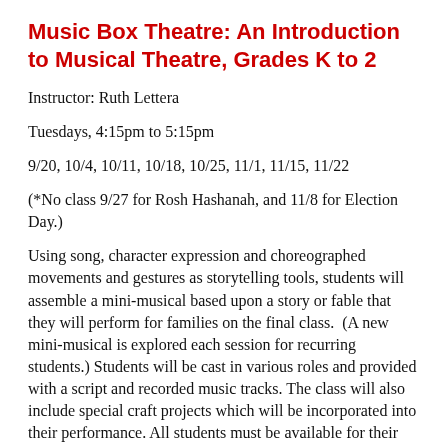Music Box Theatre: An Introduction to Musical Theatre, Grades K to 2
Instructor: Ruth Lettera
Tuesdays, 4:15pm to 5:15pm
9/20, 10/4, 10/11, 10/18, 10/25, 11/1, 11/15, 11/22
(*No class 9/27 for Rosh Hashanah, and 11/8 for Election Day.)
Using song, character expression and choreographed movements and gestures as storytelling tools, students will assemble a mini-musical based upon a story or fable that they will perform for families on the final class.  (A new mini-musical is explored each session for recurring students.) Students will be cast in various roles and provided with a script and recorded music tracks. The class will also include special craft projects which will be incorporated into their performance. All students must be available for their performance on the final date (November 22). Class materials will be provided through a